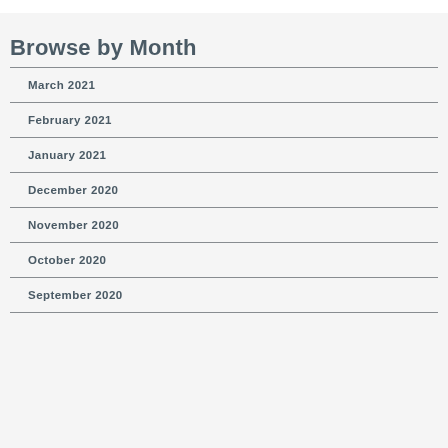Browse by Month
March 2021
February 2021
January 2021
December 2020
November 2020
October 2020
September 2020